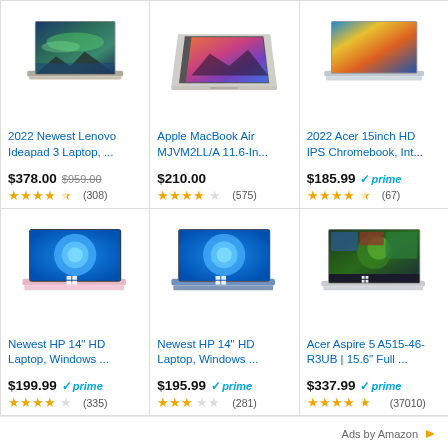[Figure (screenshot): Amazon product listing grid showing 6 laptop products with images, titles, prices, and star ratings]
2022 Newest Lenovo Ideapad 3 Laptop, ... $378.00 $959.00 ★★★★½ (308)
Apple MacBook Air MJVM2LL/A 11.6-In... $210.00 ★★★★☆ (575)
2022 Acer 15inch HD IPS Chromebook, Int... $185.99 prime ★★★★½ (67)
Newest HP 14" HD Laptop, Windows ... $199.99 prime ★★★★☆ (335)
Newest HP 14" HD Laptop, Windows ... $195.99 prime ★★★☆☆ (281)
Acer Aspire 5 A515-46-R3UB | 15.6" Full ... $337.99 prime ★★★★½ (37010)
Ads by Amazon